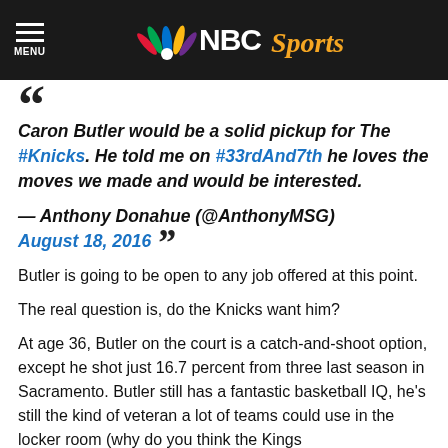NBC Sports
Caron Butler would be a solid pickup for The #Knicks. He told me on #33rdAnd7th he loves the moves we made and would be interested. — Anthony Donahue (@AnthonyMSG) August 18, 2016
Butler is going to be open to any job offered at this point.
The real question is, do the Knicks want him?
At age 36, Butler on the court is a catch-and-shoot option, except he shot just 16.7 percent from three last season in Sacramento. Butler still has a fantastic basketball IQ, he's still the kind of veteran a lot of teams could use in the locker room (why do you think the Kings